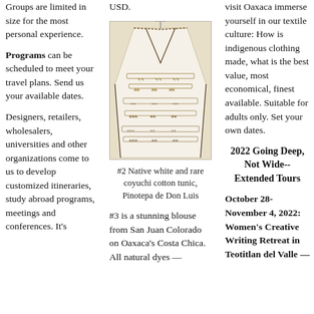Groups are limited in size for the most personal experience.
Programs can be scheduled to meet your travel plans. Send us your available dates.
Designers, retailers, wholesalers, universities and other organizations come to us to develop customized itineraries, study abroad programs, meetings and conferences. It's
USD.
[Figure (photo): A white and coyuchi cotton tunic with embroidered indigenous designs, hanging on display. Pinotepa de Don Luis style.]
#2 Native white and rare coyuchi cotton tunic, Pinotepa de Don Luis
#3 is a stunning blouse from San Juan Colorado on Oaxaca's Costa Chica.  All natural dyes —
visit Oaxaca immerse yourself in our textile culture: How is indigenous clothing made, what is the best value, most economical, finest available. Suitable for adults only. Set your own dates.
2022 Going Deep, Not Wide--Extended Tours
October 28-November 4, 2022: Women's Creative Writing Retreat in Teotitlan del Valle —